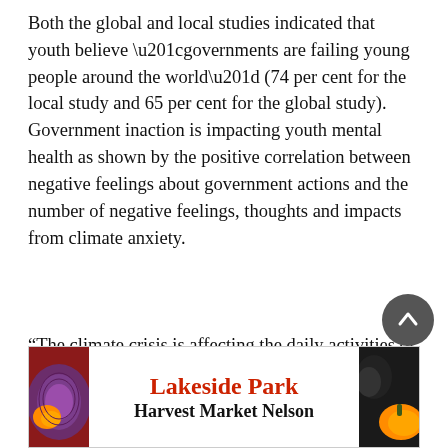Both the global and local studies indicated that youth believe “governments are failing young people around the world” (74 per cent for the local study and 65 per cent for the global study). Government inaction is impacting youth mental health as shown by the positive correlation between negative feelings about government actions and the number of negative feelings, thoughts and impacts from climate anxiety.
“The climate crisis is affecting the daily activities of local youth: eating, concentrating, working, studying, having fun, spending time on recreation, and spending time in nature,” said Taburiaux.
“When mental health concerns begin to affect the daily
[Figure (other): Advertisement banner for Lakeside Park Harvest Market Nelson with decorative food imagery on left and right sides]